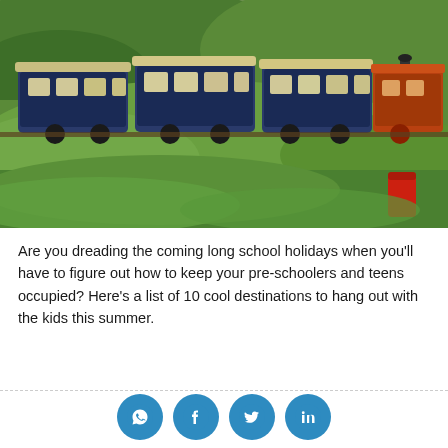[Figure (photo): A toy or narrow-gauge train with blue and cream passenger cars traveling through a lush green hillside landscape. A red post box or barrel is visible in the lower right foreground.]
Are you dreading the coming long school holidays when you'll have to figure out how to keep your pre-schoolers and teens occupied? Here's a list of 10 cool destinations to hang out with the kids this summer.
[Figure (infographic): Social media share icons: WhatsApp, Facebook, Twitter, LinkedIn — all in teal/blue circular buttons]